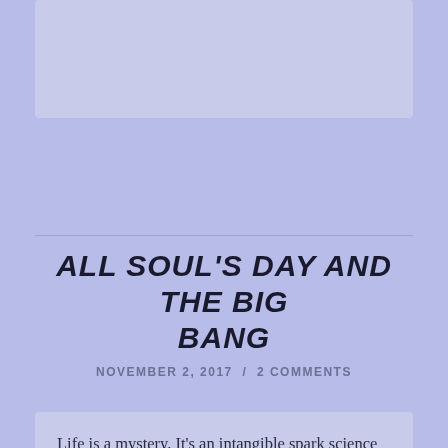[Figure (other): Light purple/lavender rectangular image placeholder box at top of page]
ALL SOUL'S DAY AND THE BIG BANG
NOVEMBER 2, 2017 / 2 COMMENTS
Life is a mystery. It's an intangible spark science can't quite pin down. The life-force lies behind the neurons and electrical pulses and move our bodies. Where does it come from? Why does it exist? And where does it go when our